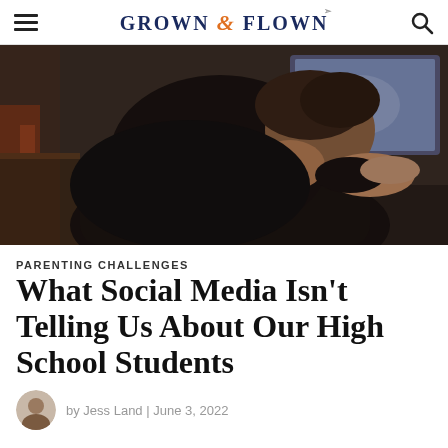GROWN & FLOWN
[Figure (photo): A young person sitting in a dark chair facing away from the camera, head resting on hands, with a blurred screen in the background. Dark, moody lighting.]
PARENTING CHALLENGES
What Social Media Isn’t Telling Us About Our High School Students
by Jess Land | June 3, 2022